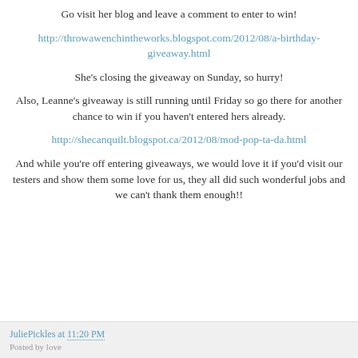Go visit her blog and leave a comment to enter to win!
http://throwawenchintheworks.blogspot.com/2012/08/a-birthday-giveaway.html
She's closing the giveaway on Sunday, so hurry!
Also, Leanne's giveaway is still running until Friday so go there for another chance to win if you haven't entered hers already.
http://shecanquilt.blogspot.ca/2012/08/mod-pop-ta-da.html
And while you're off entering giveaways, we would love it if you'd visit our testers and show them some love for us, they all did such wonderful jobs and we can't thank them enough!!
JuliePickles at 11:20 PM